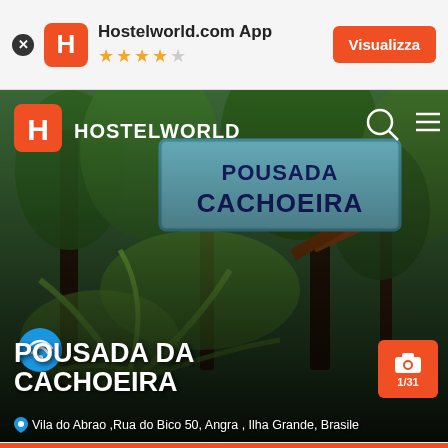[Figure (screenshot): Hostelworld.com App banner with orange logo, 4 filled stars and 1 empty star, and orange Visualizza button]
[Figure (photo): Outdoor photo of Pousada da Cachoeira sign with tropical plants and greenery in background, Hostelworld navigation overlay with logo and icons]
POUSADA DA CACHOEIRA
Vila do Abrao ,Rua do Bico 50, Angra , Ilha Grande, Brasile